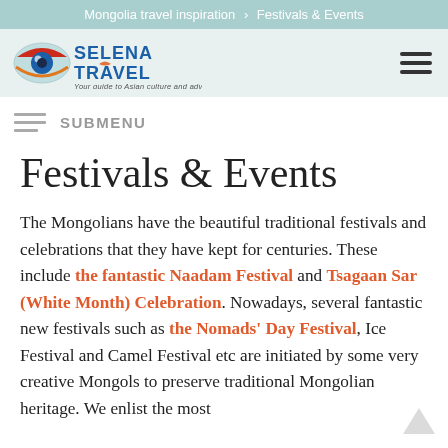Mongolia travel inspiration > Festivals & Events
[Figure (logo): Selena Travel logo with eye icon and tagline 'Your guide to Asian culture and adventure']
SUBMENU
Festivals & Events
The Mongolians have the beautiful traditional festivals and celebrations that they have kept for centuries. These include the fantastic Naadam Festival and Tsagaan Sar (White Month) Celebration. Nowadays, several fantastic new festivals such as the Nomads' Day Festival, Ice Festival and Camel Festival etc are initiated by some very creative Mongols to preserve traditional Mongolian heritage. We enlist the most